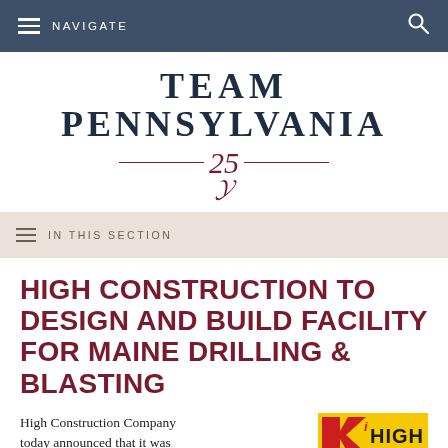NAVIGATE
[Figure (logo): Team Pennsylvania 25th anniversary logo with horizontal rules and cursive flourish]
IN THIS SECTION
HIGH CONSTRUCTION TO DESIGN AND BUILD FACILITY FOR MAINE DRILLING & BLASTING
High Construction Company today announced that it was
[Figure (logo): High Construction Company logo showing stylized H in red and yellow with company name]